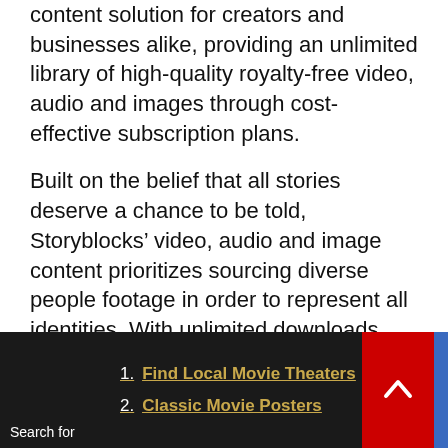content solution for creators and businesses alike, providing an unlimited library of high-quality royalty-free video, audio and images through cost-effective subscription plans.
Built on the belief that all stories deserve a chance to be told, Storyblocks’ video, audio and image content prioritizes sourcing diverse people footage in order to represent all identities. With unlimited downloads and worry-free licensing, individuals can build and iterate endlessly with full confidence to meet business goals.
Storyblocks is headquartered in Arlington, VA. To find out more about how Storyblocks is changing the future of content creation, go to
1. Find Local Movie Theaters
2. Classic Movie Posters
Search for